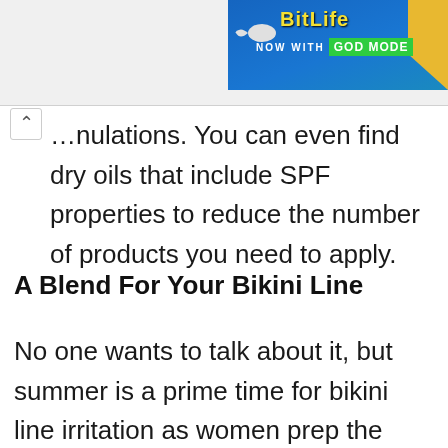[Figure (screenshot): Advertisement banner for BitLife app: 'NOW WITH GOD MODE' on blue/yellow background with sperm icon]
…mulations. You can even find dry oils that include SPF properties to reduce the number of products you need to apply.
A Blend For Your Bikini Line
No one wants to talk about it, but summer is a prime time for bikini line irritation as women prep the area before donning their swimsuits. This kind of irritation is essentially just folliculitis